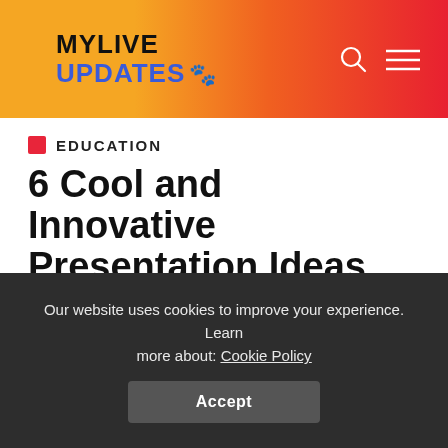MYLIVE UPDATES
EDUCATION
6 Cool and Innovative Presentation Ideas for Teachers
John R. Wright  |  December 26, 2021
Our website uses cookies to improve your experience. Learn more about: Cookie Policy
Accept